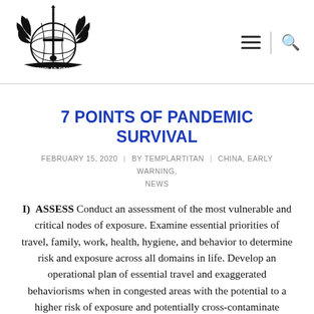[Figure (logo): Templar Titan logo — a sword with wings and globe, banner reading TEMPLAR TITAN]
7 POINTS OF PANDEMIC SURVIVAL
FEBRUARY 15, 2020  |  BY TEMPLARTITAN  |  CHINA, EARLY WARNING, NEWS
I)  ASSESS Conduct an assessment of the most vulnerable and critical nodes of exposure. Examine essential priorities of travel, family, work, health, hygiene, and behavior to determine risk and exposure across all domains in life. Develop an operational plan of essential travel and exaggerated behaviorisms when in congested areas with the potential to a higher risk of exposure and potentially cross-contaminate others within your life. II) AWARENESS